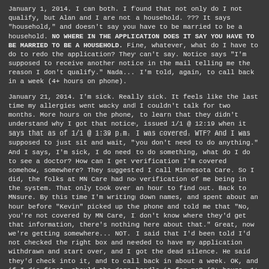January 1, 2014. I can both. I found that not only do I not qualify, but Alan and I are not a household. ??? It says "household," and doesn't say you have to be married to be a household. NO WHERE IN THE APPLICATION DOES IT SAY YOU HAVE TO BE MARRIED TO BE A HOUSEHOLD. Fine, whatever, what do I have to do to redo the application? They can't say. Notice says "I'm supposed to receive another notice in the mail telling me the reason I don't qualify." Nada... I'm told, again, to call back in a week (4+ hours on phone).
January 21, 2014. I'm sick. Really sick. It feels like the last time my allergies went wacky and I couldn't talk for two months. More hours on the phone, to learn that they didn't understand why I got that notice, issued 1/1 @ 12:19 when it says that as of 1/1 @ 1:39 p.m. I was covered. WTF? And I was supposed to just sit and wait, "you don't need to do anything." And I says, I'm sick, I do need to do something, what do I do to see a doctor? How can I get verification I'm covered somehow, somewhere? They suggested I call Minnesota Care. So I did, the folks at MN Care had no verification of me being in the system. That only took over an hour to find out. Back to MNsure. By this time I'm writing down names, and spent about an hour before "Kevin" picked up the phone and told me that "No, you're not covered by MN Care, I don't know where they'd get that information, there's nothing here about that." Great, now we're getting somewhere... NOT. I said that I'd been told I'd not checked the right box and needed to have my application withdrawn and start over, and I got the dead silence. He said they'd check into it, and to call back in about a week. OK, and if I die first, should the dogs handle it for me? (2+ hours, 1+ hour, 2+ hours).